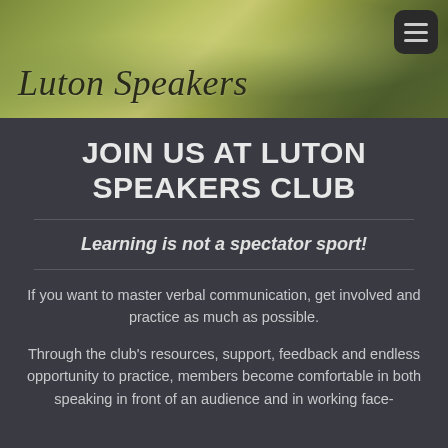[Figure (photo): Blurred green and yellow bokeh nature background serving as website header banner for Luton Speakers club]
Luton Speakers
JOIN US AT LUTON SPEAKERS CLUB
Learning is not a spectator sport!
If you want to master verbal communication, get involved and practice as much as possible.
Through the club's resources, support, feedback and endless opportunity to practice, members become comfortable in both speaking in front of an audience and in working face-